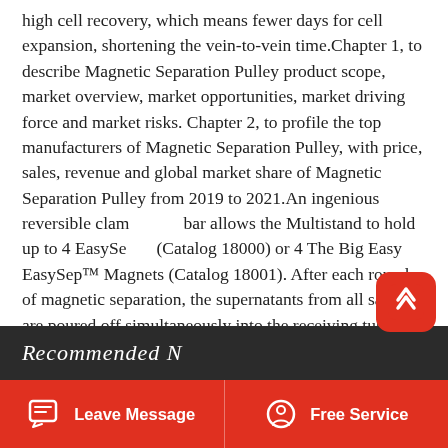high cell recovery, which means fewer days for cell expansion, shortening the vein-to-vein time.Chapter 1, to describe Magnetic Separation Pulley product scope, market overview, market opportunities, market driving force and market risks. Chapter 2, to profile the top manufacturers of Magnetic Separation Pulley, with price, sales, revenue and global market share of Magnetic Separation Pulley from 2019 to 2021.An ingenious reversible clamp bar allows the Multistand to hold up to 4 EasySep (Catalog 18000) or 4 The Big Easy EasySep™ Magnets (Catalog 18001). After each round of magnetic separation, the supernatants from all samples are poured off simultaneously into the receiving tubes.
Recommended N...
Leave Message   Free Service